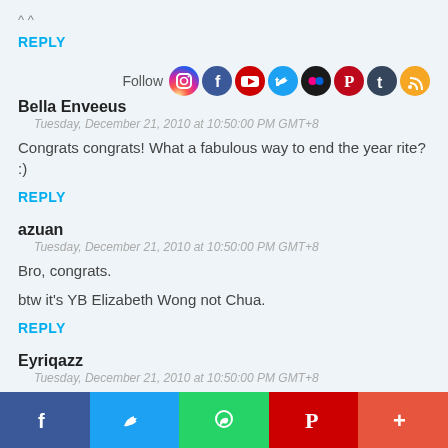^ ^
REPLY
[Figure (infographic): Follow social media icons row: Instagram, Facebook, YouTube, Twitter, Flickr, Pinterest, Tumblr, RSS]
Bella Enveeus
Tuesday, December 21, 2010 at 10:50:00 PM GMT+8
Congrats congrats! What a fabulous way to end the year rite? :)
REPLY
azuan
Tuesday, December 21, 2010 at 10:50:00 PM GMT+8
Bro, congrats.
btw it's YB Elizabeth Wong not Chua.
REPLY
Eyriqazz
Tuesday, December 21, 2010 at 10:50:00 PM GMT+8
[Figure (infographic): Social share bar with Facebook (blue), Twitter (light blue), WhatsApp (green), Pinterest (red), More (orange-red)]